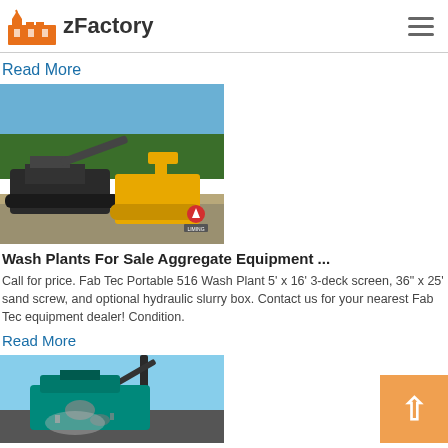[Figure (logo): zFactory logo with orange factory building icon and bold text 'zFactory']
Read More
[Figure (photo): Heavy machinery at an aggregate/quarry site with yellow loader and tracked crusher, trees in background, Liming brand logo overlay]
Wash Plants For Sale Aggregate Equipment ...
Call for price. Fab Tec Portable 516 Wash Plant 5' x 16' 3-deck screen, 36" x 25' sand screw, and optional hydraulic slurry box. Contact us for your nearest Fab Tec equipment dealer! Condition.
Read More
[Figure (photo): Heavy industrial crushing/screening equipment in operation at a site, teal/green colored machinery with debris falling]
[Figure (other): Chat Now widget button in red on right side]
[Figure (other): Orange scroll-to-top button with upward arrow in bottom right]